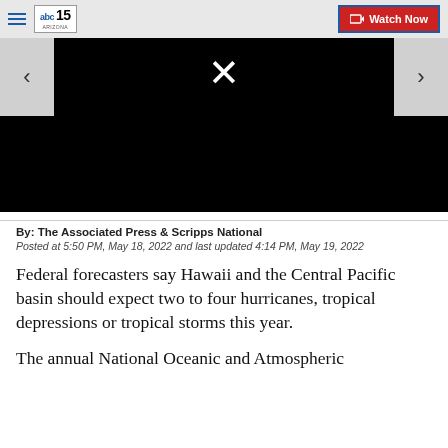ABC15 Arizona — Watch Now
[Figure (screenshot): Black video player with X icon and left/right navigation arrows]
By: The Associated Press & Scripps National
Posted at 5:50 PM, May 18, 2022 and last updated 4:14 PM, May 19, 2022
Federal forecasters say Hawaii and the Central Pacific basin should expect two to four hurricanes, tropical depressions or tropical storms this year.
The annual National Oceanic and Atmospheric